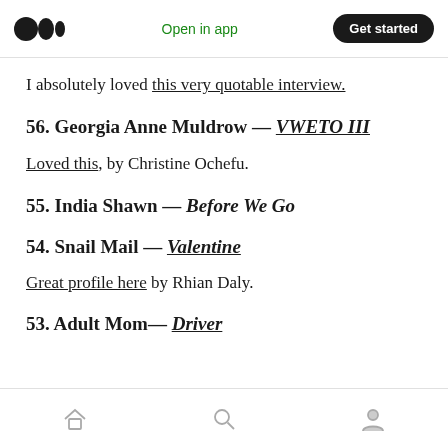Open in app | Get started
I absolutely loved this very quotable interview.
56. Georgia Anne Muldrow — VWETO III
Loved this, by Christine Ochefu.
55. India Shawn — Before We Go
54. Snail Mail — Valentine
Great profile here by Rhian Daly.
53. Adult Mom— Driver
Home | Search | Profile